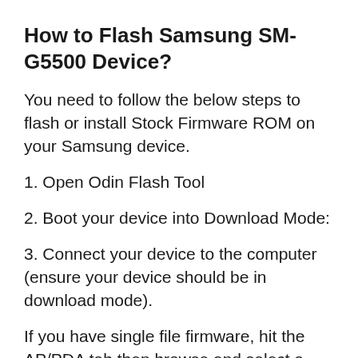How to Flash Samsung SM-G5500 Device?
You need to follow the below steps to flash or install Stock Firmware ROM on your Samsung device.
1. Open Odin Flash Tool
2. Boot your device into Download Mode:
3. Connect your device to the computer (ensure your device should be in download mode).
If you have single file firmware, hit the AP/PDA tab then browse and select a tar.md5 file from the firmware folder.